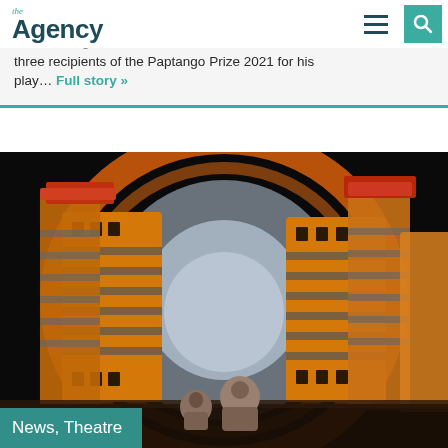the Agency
We are delighted that Tom Powell is one of three recipients of the Paptango Prize 2021 for his play… Full story »
[Figure (photo): Theatrical stage set photo showing a tunnel of stylized buildings in warm orange and golden tones with two small figurines in the foreground viewed from behind, against a dark background. Overlay label reads 'News, Theatre'.]